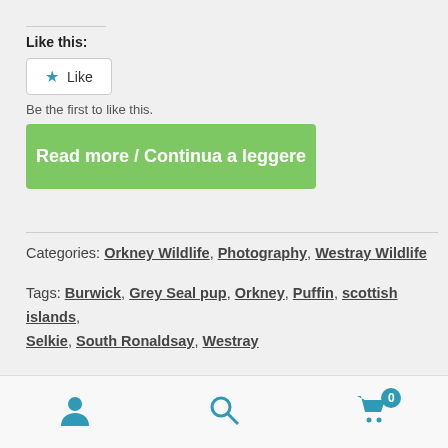Like this:
Like
Be the first to like this.
Read more / Continua a leggere
Categories: Orkney Wildlife, Photography, Westray Wildlife
Tags: Burwick, Grey Seal pup, Orkney, Puffin, scottish islands, Selkie, South Ronaldsay, Westray
Welcome
User icon, Search icon, Cart icon with badge 0